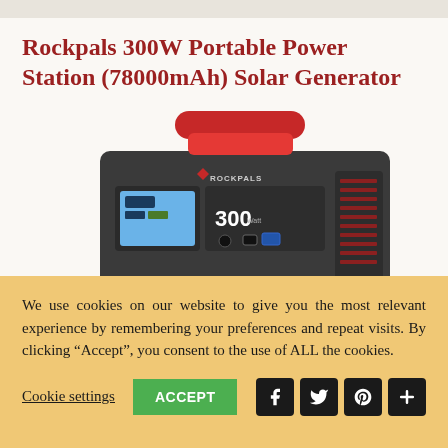Rockpals 300W Portable Power Station (78000mAh) Solar Generator
[Figure (photo): Rockpals 300W portable power station product photo showing a grey and red portable battery generator with handle, LCD display, USB ports, and ventilation grills on the side]
We use cookies on our website to give you the most relevant experience by remembering your preferences and repeat visits. By clicking “Accept”, you consent to the use of ALL the cookies.
Cookie settings
ACCEPT